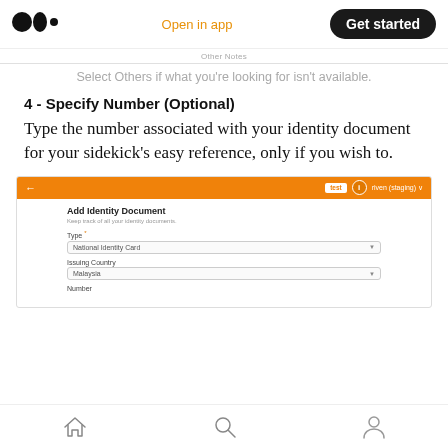Medium logo | Open in app | Get started
Other Notes
Select Others if what you're looking for isn't available.
4 - Specify Number (Optional)
Type the number associated with your identity document for your sidekick's easy reference, only if you wish to.
[Figure (screenshot): Screenshot of an app interface showing 'Add Identity Document' form with Type field set to 'National Identity Card', Issuing Country set to 'Malaysia', and a Number field partially visible.]
Home | Search | Profile